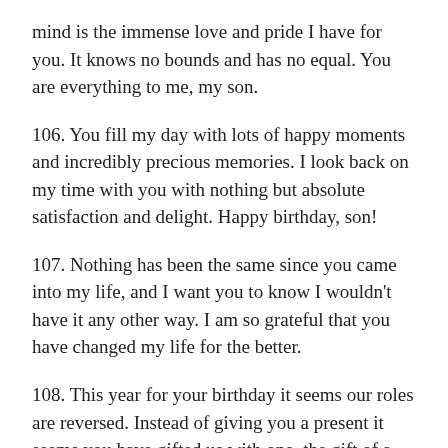mind is the immense love and pride I have for you. It knows no bounds and has no equal. You are everything to me, my son.
106. You fill my day with lots of happy moments and incredibly precious memories. I look back on my time with you with nothing but absolute satisfaction and delight. Happy birthday, son!
107. Nothing has been the same since you came into my life, and I want you to know I wouldn't have it any other way. I am so grateful that you have changed my life for the better.
108. This year for your birthday it seems our roles are reversed. Instead of giving you a present it seems you have gifted us with one, the gift of a perfect son. Happy birthday!
109. Today is your birthday and I know it is filled with